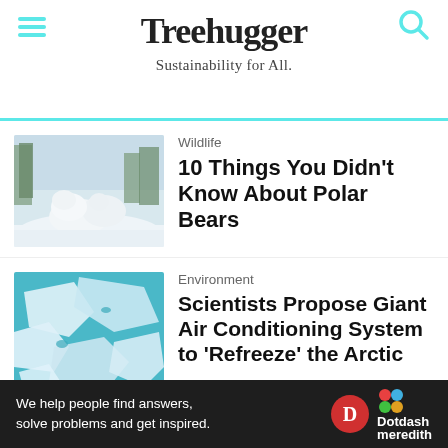Treehugger — Sustainability for All.
[Figure (photo): Two polar bears in snowy winter forest setting]
Wildlife
10 Things You Didn't Know About Polar Bears
[Figure (photo): Aerial view of Arctic sea ice fragments in teal water]
Environment
Scientists Propose Giant Air Conditioning System to 'Refreeze' the Arctic
[Figure (photo): Aerial view of snowy landscape with Arctic fox]
Animals
Arctic Fox: Perfectly Adapted to Frigid Environment, but What's
We help people find answers, solve problems and get inspired. Dotdash meredith Ad